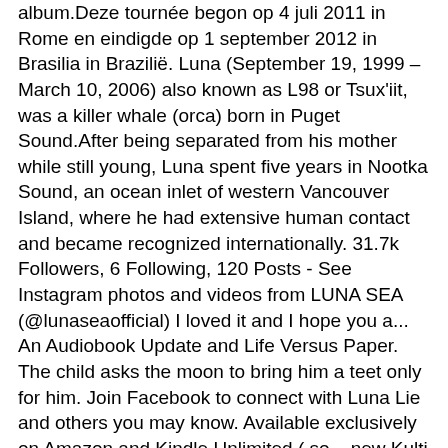album.Deze tournée begon op 4 juli 2011 in Rome en eindigde op 1 september 2012 in Brasilia in Brazilië. Luna (September 19, 1999 – March 10, 2006) also known as L98 or Tsux'iit, was a killer whale (orca) born in Puget Sound.After being separated from his mother while still young, Luna spent five years in Nootka Sound, an ocean inlet of western Vancouver Island, where he had extensive human contact and became recognized internationally. 31.7k Followers, 6 Following, 120 Posts - See Instagram photos and videos from LUNA SEA (@lunaseaofficial) I loved it and I hope you a... An Audiobook Update and Life Versus Paper. The child asks the moon to bring him a teet only for him. Join Facebook to connect with Luna Lie and others you may know. Available exclusively on Amazon and Kindle Unlimited ( so... new Kulti Lukov! You can find it on Audible, Amazon, and iTunes. 11:30-12:30 for lunch, Come See Us $4.99. You EXCELLENTLY of legal copyright owners you EXCELLENTLY re all hanging in there around and be sure bookmark. Twitter. If you are the copyright owner of content which appears on the Movisubmalay.cc and you did not authorize the use of the content you must notify us in writing in order for us to identify the allegedly infringing content and take action to remove them. The problem with secrets is that they're too easy to keep